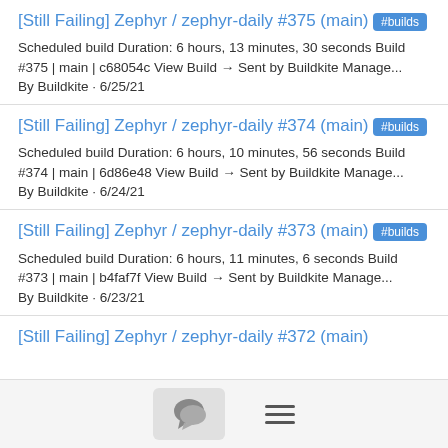[Still Failing] Zephyr / zephyr-daily #375 (main)
#builds
Scheduled build Duration: 6 hours, 13 minutes, 30 seconds Build #375 | main | c68054c View Build → Sent by Buildkite Manage...
By Buildkite · 6/25/21
[Still Failing] Zephyr / zephyr-daily #374 (main)
#builds
Scheduled build Duration: 6 hours, 10 minutes, 56 seconds Build #374 | main | 6d86e48 View Build → Sent by Buildkite Manage...
By Buildkite · 6/24/21
[Still Failing] Zephyr / zephyr-daily #373 (main)
#builds
Scheduled build Duration: 6 hours, 11 minutes, 6 seconds Build #373 | main | b4faf7f View Build → Sent by Buildkite Manage...
By Buildkite · 6/23/21
[Still Failing] Zephyr / zephyr-daily #372 (main)